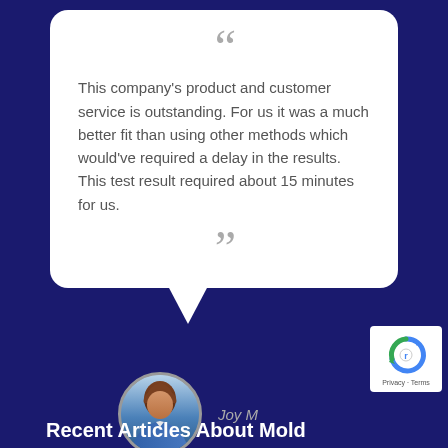This company's product and customer service is outstanding. For us it was a much better fit than using other methods which would've required a delay in the results. This test result required about 15 minutes for us.
Joy M
[Figure (logo): reCAPTCHA badge with Privacy and Terms links]
Recent Articles About Mold